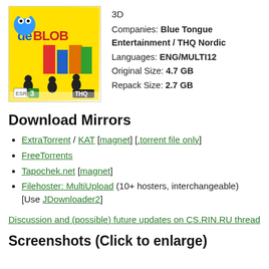[Figure (illustration): de Blob game cover art with colorful characters and THQ logo]
3D
Companies: Blue Tongue Entertainment / THQ Nordic
Languages: ENG/MULTI12
Original Size: 4.7 GB
Repack Size: 2.7 GB
Download Mirrors
ExtraTorrent / KAT [magnet] [.torrent file only]
FreeTorrents
Tapochek.net [magnet]
Filehoster: MultiUpload (10+ hosters, interchangeable) [Use JDownloader2]
Discussion and (possible) future updates on CS.RIN.RU thread
Screenshots (Click to enlarge)